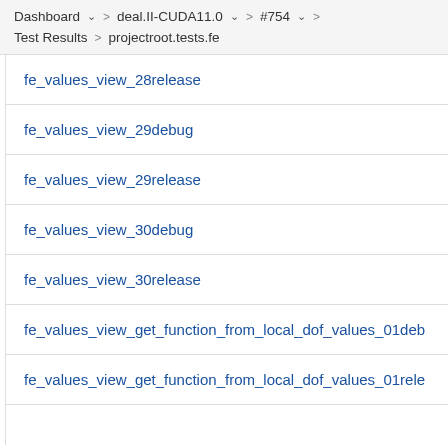Dashboard > deal.II-CUDA11.0 > #754 >
Test Results > projectroot.tests.fe
fe_values_view_28release
fe_values_view_29debug
fe_values_view_29release
fe_values_view_30debug
fe_values_view_30release
fe_values_view_get_function_from_local_dof_values_01debug
fe_values_view_get_function_from_local_dof_values_01release